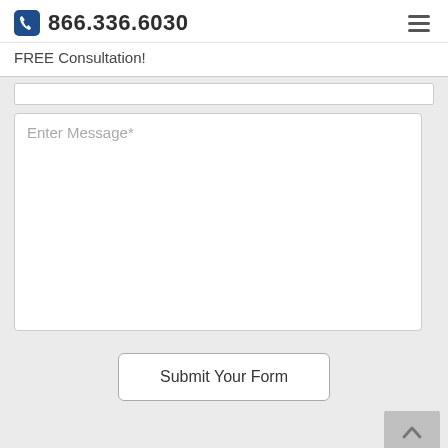866.336.6030
FREE Consultation!
Enter Message*
Submit Your Form